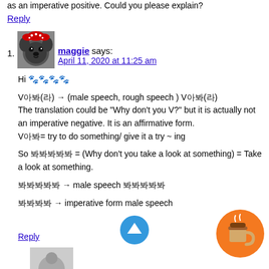as an imperative positive. Could you please explain?
Reply
maggie says:
April 11, 2020 at 11:25 am

Hi 😊

V아봐(라) → (male speech, rough speech ) V아봐(라)
The translation could be "Why don't you V?" but it is actually not an imperative negative. It is an affirmative form.
V아봐= try to do something/ give it a try ~ ing

So 봐봐봐봐봐 = (Why don't you take a look at something) = Take a look at something.

봐봐봐봐봐 → male speech 봐봐봐봐봐

봐봐봐봐 → imperative form male speech
Reply